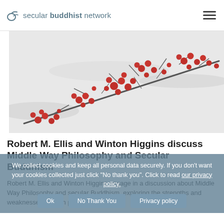secular buddhist network
[Figure (photo): Close-up photo of red berries on bare branches against a snowy white background]
Robert M. Ellis and Winton Higgins discuss Middle Way Philosophy and Secular Buddhism
Robert M. Ellis and Winton Higgins engage in a discussion about Middle Way Philosophy and secular Buddhism, exploring the strengths and weaknesses of each perspective.
We collect cookies and keep all personal data securely. If you don't want your cookies collected just click "No thank you". Click to read our privacy policy.
Ok  No Thank You  Privacy policy